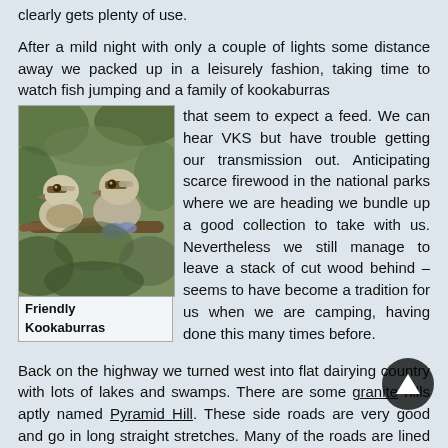clearly gets plenty of use.
After a mild night with only a couple of lights some distance away we packed up in a leisurely fashion, taking time to watch fish jumping and a family of kookaburras that seem to expect a feed. We can hear VKS but have trouble getting our transmission out. Anticipating scarce firewood in the national parks where we are heading we bundle up a good collection to take with us. Nevertheless we still manage to leave a stack of cut wood behind – seems to have become a tradition for us when we are camping, having done this many times before.
[Figure (photo): Two kookaburras perched on a branch among tree foliage]
Friendly Kookaburras
Back on the highway we turned west into flat dairying country with lots of lakes and swamps. There are some granite hills aptly named Pyramid Hill. These side roads are very good and go in long straight stretches. Many of the roads are lined with mallees some of which are in flower. This is wheat country and the further west we go the bigger the properties seem to be. There has been rain